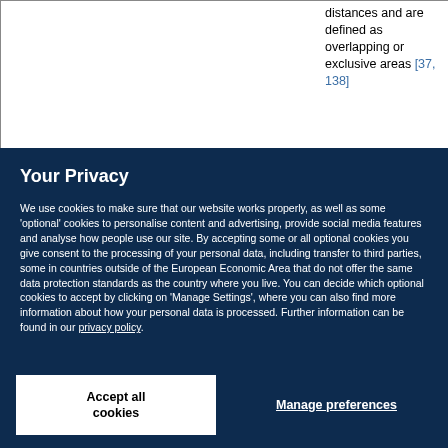|  |  | distances and are defined as overlapping or exclusive areas [37, 138] |
Your Privacy
We use cookies to make sure that our website works properly, as well as some 'optional' cookies to personalise content and advertising, provide social media features and analyse how people use our site. By accepting some or all optional cookies you give consent to the processing of your personal data, including transfer to third parties, some in countries outside of the European Economic Area that do not offer the same data protection standards as the country where you live. You can decide which optional cookies to accept by clicking on 'Manage Settings', where you can also find more information about how your personal data is processed. Further information can be found in our privacy policy.
Accept all cookies
Manage preferences